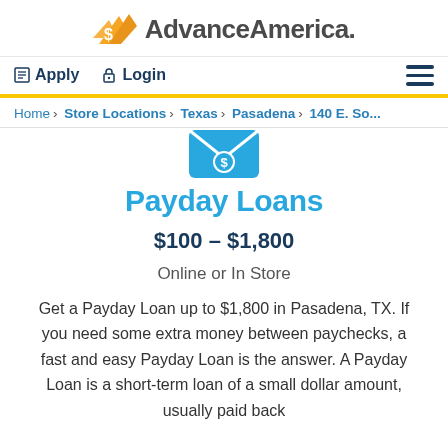[Figure (logo): Advance America logo with yellow/orange stylized arrow icon and dark gray text 'AdvanceAmerica.']
Apply  Login
Home > Store Locations > Texas > Pasadena > 140 E. So...
[Figure (illustration): Teal/blue envelope icon with dollar sign]
Payday Loans
$100 - $1,800
Online or In Store
Get a Payday Loan up to $1,800 in Pasadena, TX. If you need some extra money between paychecks, a fast and easy Payday Loan is the answer. A Payday Loan is a short-term loan of a small dollar amount, usually paid back